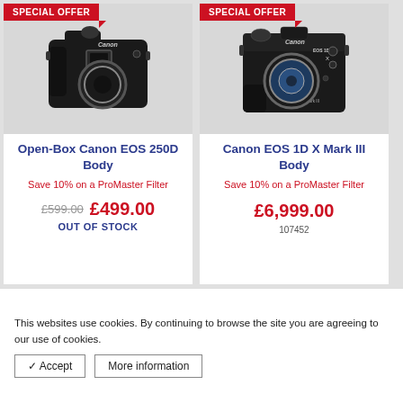[Figure (photo): Canon EOS 250D DSLR camera body, black, front view with no lens attached]
Open-Box Canon EOS 250D Body
Save 10% on a ProMaster Filter
£599.00  £499.00
OUT OF STOCK
[Figure (photo): Canon EOS 1D X Mark III DSLR camera body, black, front view with no lens attached]
Canon EOS 1D X Mark III Body
Save 10% on a ProMaster Filter
£6,999.00
107452
This websites use cookies. By continuing to browse the site you are agreeing to our use of cookies.